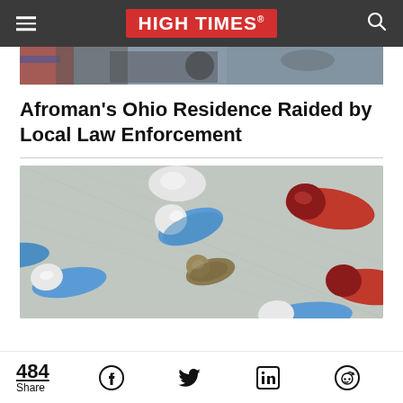HIGH TIMES
[Figure (photo): Partial top photo showing a person with confederate-style patterned clothing]
Afroman's Ohio Residence Raided by Local Law Enforcement
[Figure (photo): Close-up photo of blue/white and red capsule pills on a blister pack, with one capsule containing cannabis/herb material]
484 Share | Facebook | Twitter | LinkedIn | Reddit